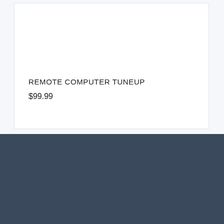REMOTE COMPUTER TUNEUP
$99.99
WHY CHOOSE OUR COMPUTER REPAIR SERVICES?
FILL OUT THIS FORM TO GET A CALLBACK & PRICE
We provide the best phone and laptop repair